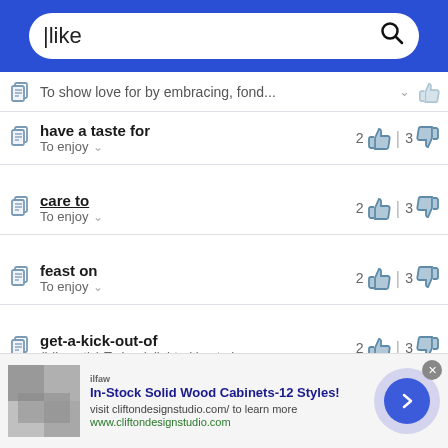[Figure (screenshot): Blue header bar with white rounded search box containing cursor and text 'like' with a search icon]
To show love for by embracing, fond... (partial, truncated entry at top)
have a taste for — To enjoy — votes: 2 up, 3 down
care to — To enjoy — votes: 2 up, 3 down
feast on — To enjoy — votes: 2 up, 3 down
get-a-kick-out-of — (Idiomatic) To be delighted by; to be... — votes: 2 up, 3 down
feast one's eyes on — votes: 2 up, 3 down
Ad: In-Stock Solid Wood Cabinets-12 Styles! visit cliftondesignstudio.com/ to learn more www.cliftondesignstudio.com